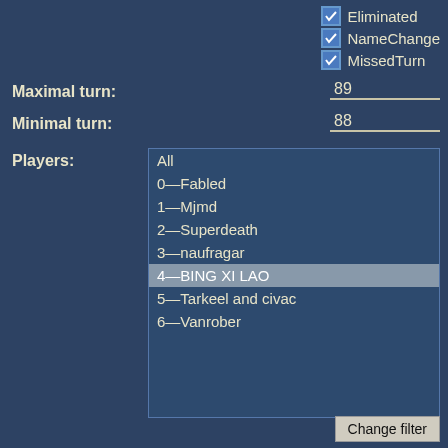✓ Eliminated
✓ NameChange
✓ MissedTurn
Maximal turn:
89
Minimal turn:
88
Players:
All
0—Fabled
1—Mjmd
2—Superdeath
3—naufragar
4—BING XI LAO
5—Tarkeel and civac
6—Vanrober
Change filter